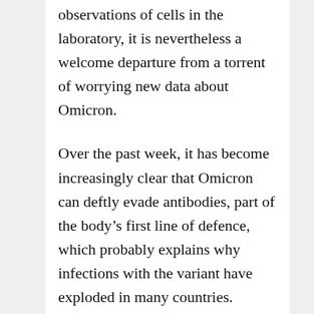observations of cells in the laboratory, it is nevertheless a welcome departure from a torrent of worrying new data about Omicron.
Over the past week, it has become increasingly clear that Omicron can deftly evade antibodies, part of the body's first line of defence, which probably explains why infections with the variant have exploded in many countries.
But antibodies are not the only important players in a person's immune response to the virus. T-cells have their own role.
“The good news is that T-cell responses are